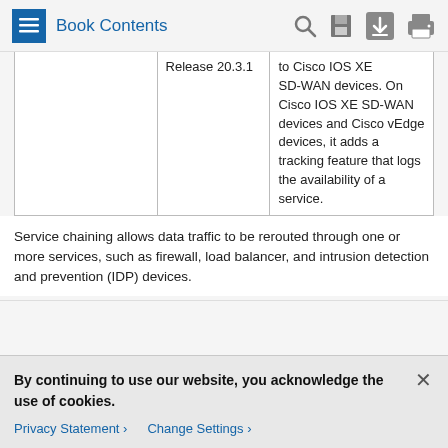Book Contents
|  | Release 20.3.1 | Description |
| --- | --- | --- |
|  | Release 20.3.1 | to Cisco IOS XE SD-WAN devices. On Cisco IOS XE SD-WAN devices and Cisco vEdge devices, it adds a tracking feature that logs the availability of a service. |
Service chaining allows data traffic to be rerouted through one or more services, such as firewall, load balancer, and intrusion detection and prevention (IDP) devices.
By continuing to use our website, you acknowledge the use of cookies.
Privacy Statement > Change Settings >